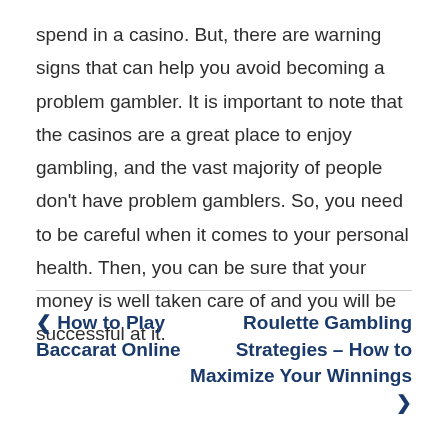spend in a casino. But, there are warning signs that can help you avoid becoming a problem gambler. It is important to note that the casinos are a great place to enjoy gambling, and the vast majority of people don't have problem gamblers. So, you need to be careful when it comes to your personal health. Then, you can be sure that your money is well taken care of and you will be successful at it.
< How to Play Baccarat Online
Roulette Gambling Strategies – How to Maximize Your Winnings >